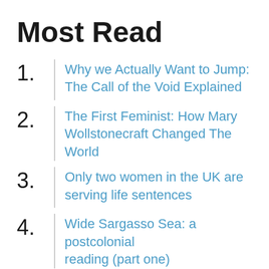Most Read
1. Why we Actually Want to Jump: The Call of the Void Explained
2. The First Feminist: How Mary Wollstonecraft Changed The World
3. Only two women in the UK are serving life sentences
4. Wide Sargasso Sea: a postcolonial reading (part one)
5. The Sami Peoples: A Story of